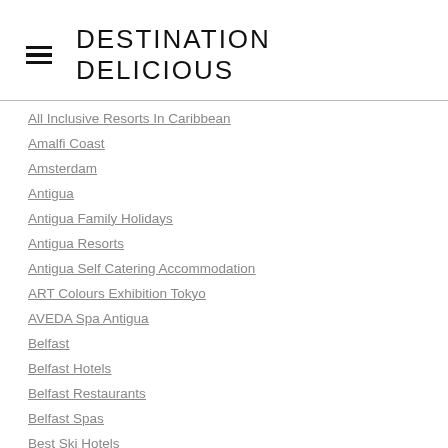DESTINATION DELICIOUS
All Inclusive Resorts In Caribbean
Amalfi Coast
Amsterdam
Antigua
Antigua Family Holidays
Antigua Resorts
Antigua Self Catering Accommodation
ART Colours Exhibition Tokyo
AVEDA Spa Antigua
Belfast
Belfast Hotels
Belfast Restaurants
Belfast Spas
Best Ski Hotels
Biannale Festival Marrakech
Bournemouth Hotel Reviews
Bournemouth Restaurant Reviews
Boutique Hotels
Boutique Hotels In Copenhagen